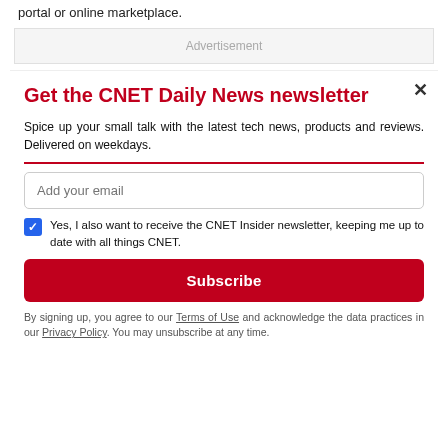portal or online marketplace.
[Figure (other): Advertisement banner placeholder with gray background]
Get the CNET Daily News newsletter
Spice up your small talk with the latest tech news, products and reviews. Delivered on weekdays.
Add your email
Yes, I also want to receive the CNET Insider newsletter, keeping me up to date with all things CNET.
Subscribe
By signing up, you agree to our Terms of Use and acknowledge the data practices in our Privacy Policy. You may unsubscribe at any time.